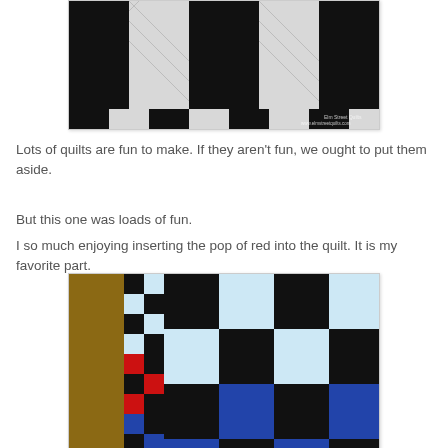[Figure (photo): Close-up of a black and white quilt with large rectangular blocks in alternating black and white/grey pattern, with diagonal quilting stitches visible. Watermark reads 'Elm Street Quilts www.elmstreetquilts.com' in bottom right corner.]
Lots of quilts are fun to make.  If they aren't fun, we ought to put them aside.
But this one was loads of fun.
I so much enjoying inserting the pop of red into the quilt.  It is my favorite part.
[Figure (photo): Photo of a checkerboard-style quilt with blue, dark navy/black, light blue, and small red accent squares, draped over what appears to be a wooden basket or furniture item outdoors.]